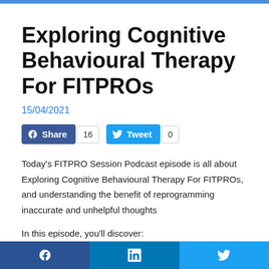Exploring Cognitive Behavioural Therapy For FITPROs
15/04/2021
[Figure (other): Social share buttons: Facebook Share with count 16, Twitter Tweet with count 0]
Today's FITPRO Session Podcast episode is all about Exploring Cognitive Behavioural Therapy For FITPROs, and understanding the benefit of reprogramming inaccurate and unhelpful thoughts
In this episode, you'll discover:
Why Cognitive Behavioural Therapy (CBT) is so effective at
f  in  🐦